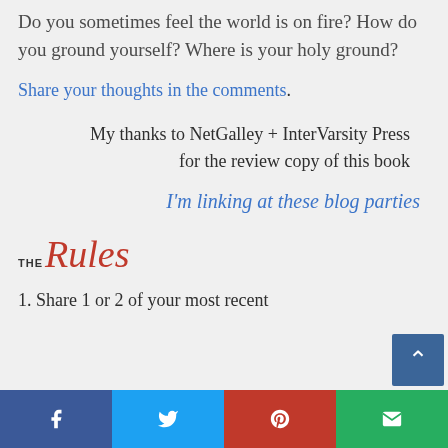Do you sometimes feel the world is on fire? How do you ground yourself? Where is your holy ground?
Share your thoughts in the comments.
My thanks to NetGalley + InterVarsity Press for the review copy of this book
I'm linking at these blog parties
[Figure (logo): The Rules logo in cursive red script with small 'THE' prefix]
1. Share 1 or 2 of your most recent
[Figure (other): Social sharing bar at bottom with Facebook, Twitter, Pinterest, and Email buttons]